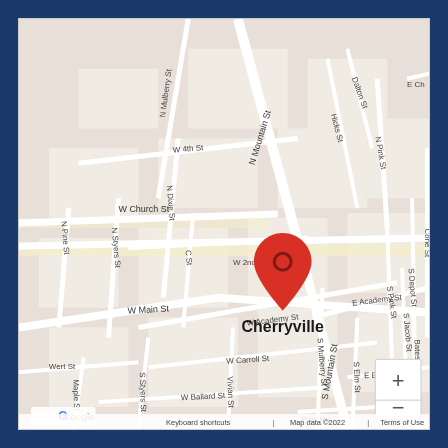[Figure (map): Google Maps street map centered on Cherryville, NC with a red location pin marker. Shows surrounding streets including N Mountain St, W Church St, E 1st St, W Main St, N Mulberry St, W 2nd St, W 4th St, S Mountain St, E Academy St, W Academy St, W Carroll St, W Ballard St, S Mulberry St, S Elm St, N Dixie St, N Pine St, N Styers St, Hicks St, N Pink St, S Pink St, S Jacob St, S Depot St, Cone St, Dalton St, E Ballard St, Bates Ave, Maple St, Vivian St, S Styers St, Wert St. Google logo and copyright in bottom-left. Zoom controls (+/-) in bottom-right. Footer: Keyboard shortcuts | Map data ©2022 | Terms of Use.]